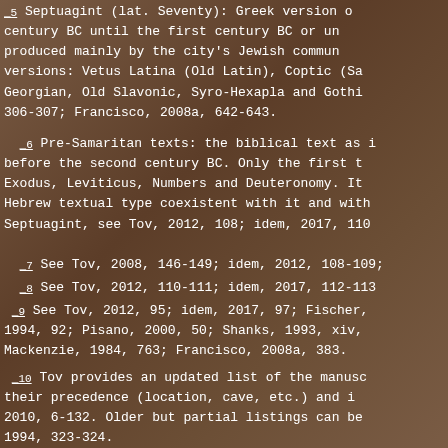_5 Septuagint (lat. Seventy): Greek version century BC until the first century BC or un produced mainly by the city's Jewish commun versions: Vetus Latina (Old Latin), Coptic (Sa Georgian, Old Slavonic, Syro-Hexapla and Gothi 306-307; Francisco, 2008a, 642-643.
_6 Pre-Samaritan texts: the biblical text as i before the second century BC. Only the first t Exodus, Leviticus, Numbers and Deuteronomy. It Hebrew textual type coexistent with it and with Septuagint, see Tov, 2012, 108; idem, 2017, 110
_7 See Tov, 2008, 146-149; idem, 2012, 108-109;
_8 See Tov, 2012, 110-111; idem, 2017, 112-113
_9 See Tov, 2012, 95; idem, 2017, 97; Fischer, 1994, 92; Pisano, 2000, 50; Shanks, 1993, xiv, Mackenzie, 1984, 763; Francisco, 2008a, 383.
_10 Tov provides an updated list of the manusc their precedence (location, cave, etc.) and i 2010, 6-132. Older but partial listings can be 1994, 323-324.